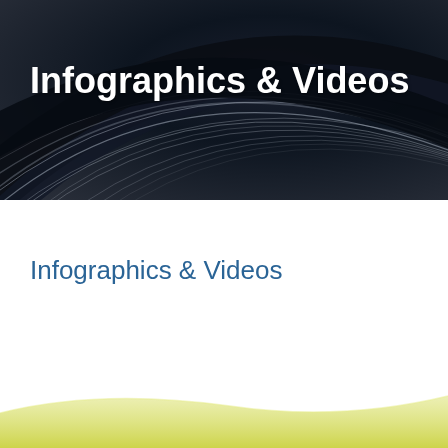[Figure (illustration): Dark abstract swirling lines background banner with white and grey curved streaks on a deep navy/black background]
Infographics & Videos
Infographics & Videos
[Figure (illustration): Yellow-green soft wave shape at bottom of page as decorative footer element]